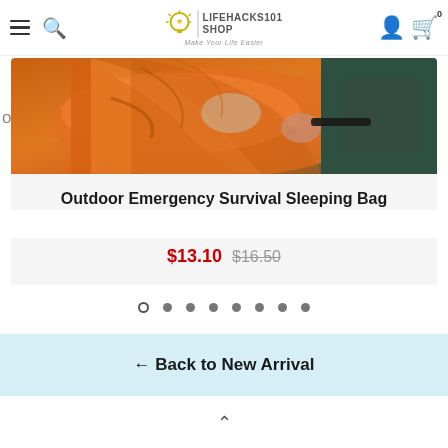LIFEHACKS101 SHOP — Make Your Life Easier
of
[Figure (photo): Outdoor emergency survival sleeping bag product image showing orange mylar material being handled by a person wearing a dark jacket]
Outdoor Emergency Survival Sleeping Bag
$13.10  $16.50
← Back to New Arrival